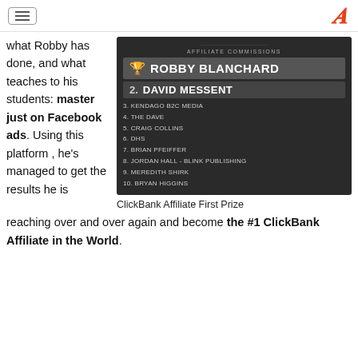hamburger menu | A logo
what Robby has done, and what teaches to his students: master just on Facebook ads. Using this platform , he's managed to get the results he is
[Figure (screenshot): ClickBank Affiliate Commissions leaderboard screenshot showing: 1. Robby Blanchard (trophy icon), 2. David Messent, 3. Kendago B2C Media, 4. The Dave, 5. Craig Collins, 6. DHS, 7. Brian Pfeiffer, 8. Jordan Hall - Blink Publishing, 9. Meredith Shirk, 10. Bryan Higgins]
ClickBank Affiliate First Prize
reaching over and over again and become the #1 ClickBank Affiliate in the World.